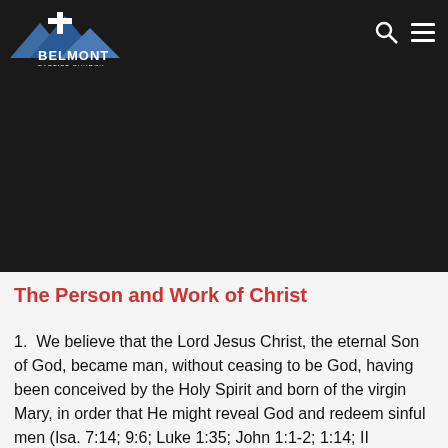responsibilities and balanced those responsibilities with the understanding that no one has the right to infringe upon the other. The home, the Church, and the government are equal and sovereign in their respective Biblically assigned spheres of responsibility under God (Rom. 13:1-7; Eph. 5:22-24; Heb. 13:17; I Pet. 2:13-14).
The Person and Work of Christ
1. We believe that the Lord Jesus Christ, the eternal Son of God, became man, without ceasing to be God, having been conceived by the Holy Spirit and born of the virgin Mary, in order that He might reveal God and redeem sinful men (Isa. 7:14; 9:6; Luke 1:35; John 1:1-2; 1:14; II